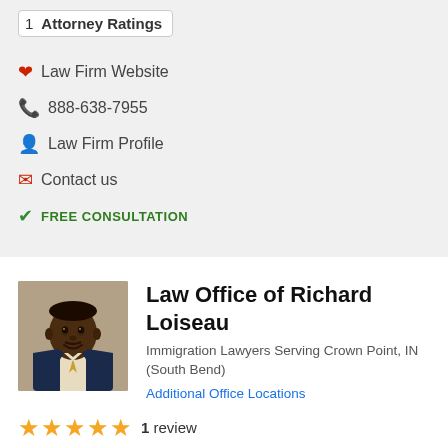1 Attorney Ratings
Law Firm Website
888-638-7955
Law Firm Profile
Contact us
FREE CONSULTATION
Law Office of Richard Loiseau
Immigration Lawyers Serving Crown Point, IN (South Bend)
Additional Office Locations
1 review
Law Firm Profile